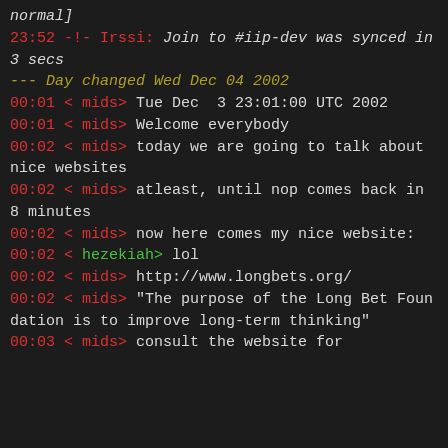normal]
23:52 -!- Irssi: Join to #iip-dev was synced in 3 secs
--- Day changed Wed Dec 04 2002
00:01 < mids> Tue Dec  3 23:01:00 UTC 2002
00:01 < mids> Welcome everybody
00:02 < mids> today we are going to talk about nice websites
00:02 < mids> atleast, until nop comes back in 8 minutes
00:02 < mids> now here comes my nice website:
00:02 < hezekiah> lol
00:02 < mids> http://www.longbets.org/
00:02 < mids> "The purpose of the Long Bet Foundation is to improve long-term thinking"
00:03 < mids> consult the website for